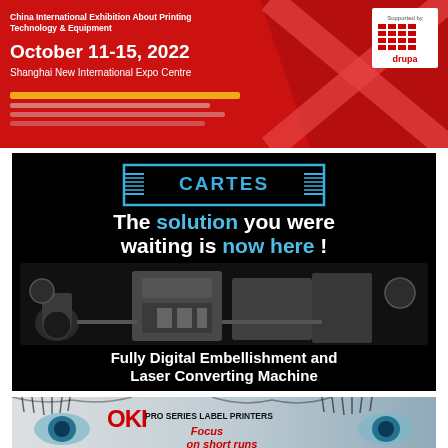[Figure (illustration): China International Exhibition About Printing Technology & Equipment banner ad. Red background with X-shape graphic. Text: October 11-15, 2022, Shanghai New International Expo Centre. Supported by drupa logo top right.]
[Figure (illustration): CARTES advertisement on black background. Logo at top: CARTES in blue rectangle with horizontal lines. Text: 'The solution you were waiting is now here !' with 'solution' and 'now here' in blue. Image of Fully Digital Embellishment and Laser Converting Machine equipment. Subtitle: Fully Digital Embellishment and Laser Converting Machine.]
[Figure (illustration): OKI PRO SERIES LABEL PRINTERS advertisement. Background shows close-up of eyes. Text: OKI in red, PRO SERIES LABEL PRINTERS, Focus on short runs in red italic.]